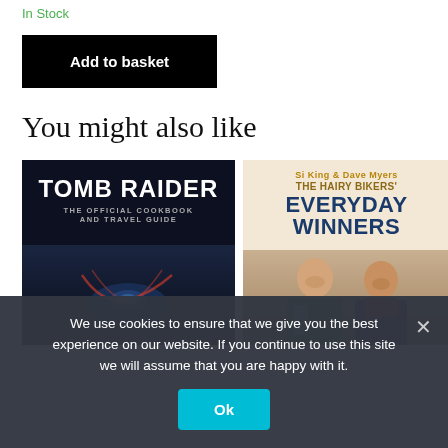In Stock
Add to basket
You might also like
[Figure (photo): Book cover: Tomb Raider – The Official Cookbook and Travel Guide]
[Figure (photo): Book cover: Si King & Dave Myers – The Hairy Bikers' Everyday Winners]
We use cookies to ensure that we give you the best experience on our website. If you continue to use this site we will assume that you are happy with it.